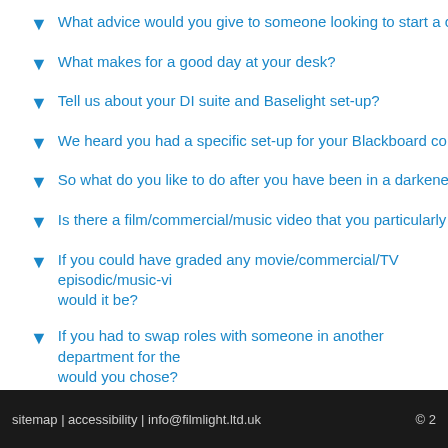What advice would you give to someone looking to start a career as a
What makes for a good day at your desk?
Tell us about your DI suite and Baselight set-up?
We heard you had a specific set-up for your Blackboard control surfa
So what do you like to do after you have been in a darkened room all
Is there a film/commercial/music video that you particularly like?
If you could have graded any movie/commercial/TV episodic/music-vi would it be?
If you had to swap roles with someone in another department for the would you chose?
What's your favourite TV series?
What does Baselight give you that other systems cannot?
sitemap | accessibility | info@filmlight.ltd.uk   © 2